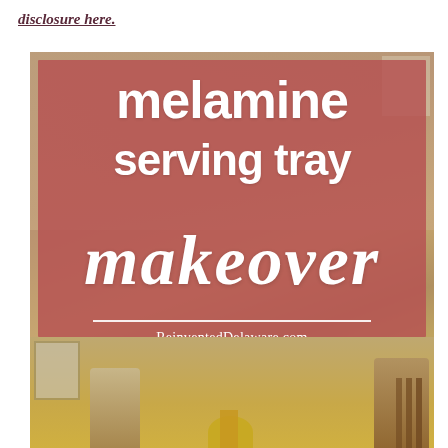disclosure here.
[Figure (photo): Promotional image for a melamine serving tray makeover tutorial, showing bold white text on a rose/mauve overlay over a blurred dining room background. Text reads: 'melamine serving tray makeover' with 'ReinventedDelaware.com' below a divider line.]